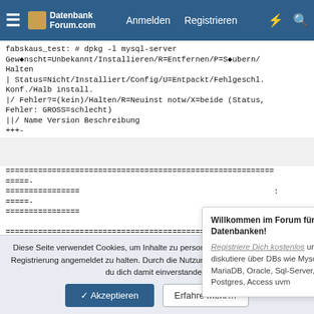Datenbank Forum.com | Anmelden | Registrieren
fabskaus_test: # dpkg -l mysql-server
Gewünscht=Unbekannt/Installieren/R=Entfernen/P=Säubern/Halten
| Status=Nicht/Installiert/Config/U=Entpackt/Fehlgeschl. Konf./Halb install.
|/ Fehler?=(kein)/Halten/R=Neuinst notw/X=beide (Status, Fehler: GROSS=schlecht)
||/ Name Version Beschreibung
+++-
[Figure (screenshot): Repeated === separator lines from dpkg output]
Willkommen im Forum für alle Datenbanken!
Registriere Dich kostenlos und diskutiere über DBs wie Mysql, MariaDB, Oracle, Sql-Server, Postgres, Access uvm
Diese Seite verwendet Cookies, um Inhalte zu personalisieren und dich nach der Registrierung angemeldet zu halten. Durch die Nutzung unserer Webseite erklärst du dich damit einverstanden.